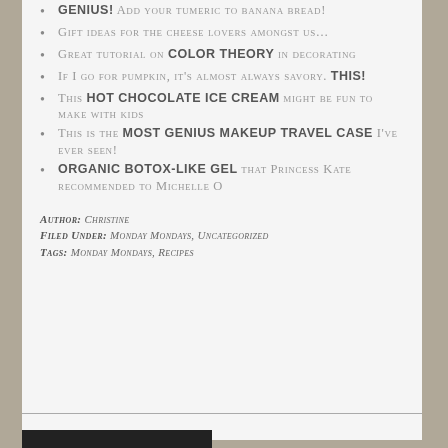Genius! Add your tumeric to banana bread!
Gift ideas for the cheese lovers amongst us…
Great tutorial on color theory in decorating
If I go for pumpkin, it's almost always savory. THIS!
This hot chocolate ice cream might be fun to make with kids
This is the most genius makeup travel case I've ever seen!
Organic botox-like gel that Princess Kate recommended to Michelle O
Author: Christine
Filed Under: Monday Mondays, Uncategorized
Tags: Monday Mondays, Recipes